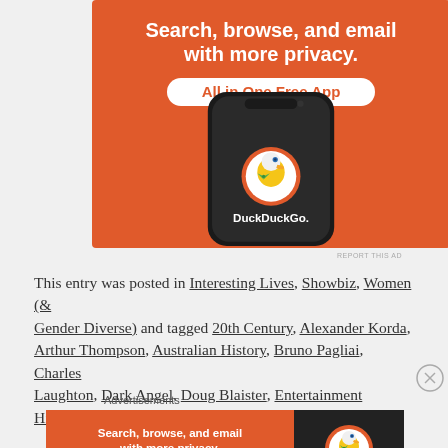[Figure (screenshot): DuckDuckGo advertisement banner showing a smartphone with DuckDuckGo app. Orange background with white text: 'Search, browse, and email with more privacy.' and badge 'All in One Free App'. Phone shows DuckDuckGo logo and name.]
REPORT THIS AD
This entry was posted in Interesting Lives, Showbiz, Women (& Gender Diverse) and tagged 20th Century, Alexander Korda, Arthur Thompson, Australian History, Bruno Pagliai, Charles Laughton, Dark Angel, Doug Blaister, Entertainment History,
Advertisements
[Figure (screenshot): Second DuckDuckGo advertisement banner. Orange left section with text 'Search, browse, and email with more privacy.' and badge 'All in One Free App'. Dark right section with DuckDuckGo logo and name.]